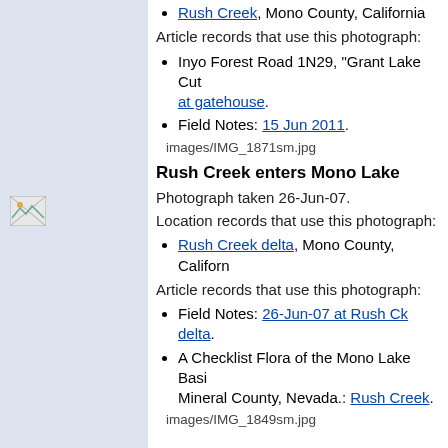Rush Creek, Mono County, California
Article records that use this photograph:
Inyo Forest Road 1N29, "Grant Lake Cut... at gatehouse.
Field Notes: 15 Jun 2011.
images/IMG_1871sm.jpg
[Figure (photo): Small broken image icon placeholder]
Rush Creek enters Mono Lake
Photograph taken 26-Jun-07.
Location records that use this photograph:
Rush Creek delta, Mono County, California
Article records that use this photograph:
Field Notes: 26-Jun-07 at Rush Ck delta.
A Checklist Flora of the Mono Lake Basin, Mineral County, Nevada.: Rush Creek.
images/IMG_1849sm.jpg